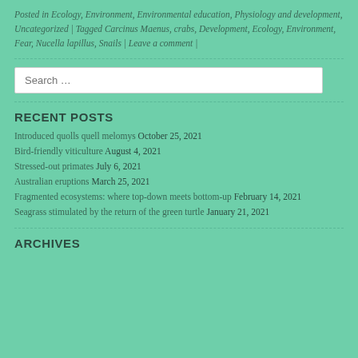Posted in Ecology, Environment, Environmental education, Physiology and development, Uncategorized | Tagged Carcinus Maenus, crabs, Development, Ecology, Environment, Fear, Nucella lapillus, Snails | Leave a comment |
Search ...
RECENT POSTS
Introduced quolls quell melomys October 25, 2021
Bird-friendly viticulture August 4, 2021
Stressed-out primates July 6, 2021
Australian eruptions March 25, 2021
Fragmented ecosystems: where top-down meets bottom-up February 14, 2021
Seagrass stimulated by the return of the green turtle January 21, 2021
ARCHIVES